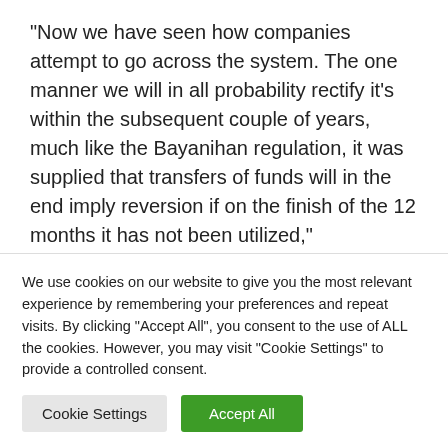“Now we have seen how companies attempt to go across the system. The one manner we will in all probability rectify it’s within the subsequent couple of years, much like the Bayanihan regulation, it was supplied that transfers of funds will in the end imply reversion if on the finish of the 12 months it has not been utilized,” Undersecretary Tina Marie L. Canda mentioned throughout the listening Wednesday.
he companies have (adopted the) apply of... (maki
We use cookies on our website to give you the most relevant experience by remembering your preferences and repeat visits. By clicking “Accept All”, you consent to the use of ALL the cookies. However, you may visit “Cookie Settings” to provide a controlled consent.